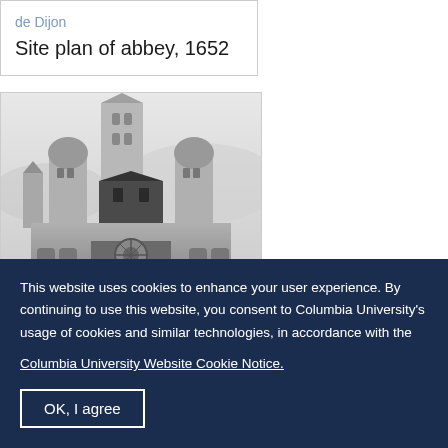de Dijon
Site plan of abbey, 1652
[Figure (photo): Black and white photograph of a large Romanesque or Gothic abbey/cathedral with multiple towers and domed elements, viewed from the front. The building features ornate stonework, arched windows including a rose window, and is set against a hilly background.]
This website uses cookies to enhance your user experience. By continuing to use this website, you consent to Columbia University's usage of cookies and similar technologies, in accordance with the
Columbia University Website Cookie Notice.
OK, I agree